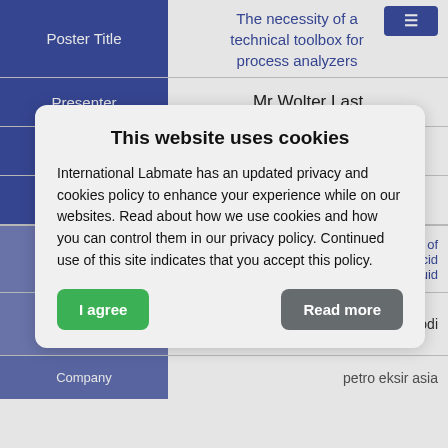| Field | Value |
| --- | --- |
| Poster Title | The necessity of a technical toolbox for process analyzers |
| Presenter | Mr Wolter Last |
| Company | Hint |
| Country | Netherlands |
This website uses cookies
International Labmate has an updated privacy and cookies policy to enhance your experience while on our websites. Read about how we use cookies and how you can control them in our privacy policy. Continued use of this site indicates that you accept this policy.
[I agree] [Read more]
| Field | Value |
| --- | --- |
|  | hesis reaction of ter of oleic acid ionic liquid |
|  | K Adavodi |
| Company | petro eksir asia |